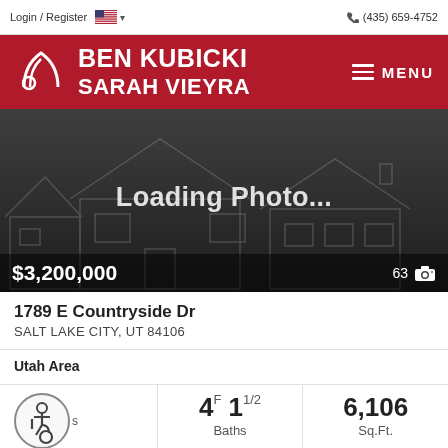Login / Register  🇺🇸 ▾   (435) 659-4752
BEN KUBICKI SARAH VIEYRA
[Figure (photo): Loading Photo... placeholder image showing house outline on dark background. Price $3,200,000 shown in bottom left. Photo count 63 shown in bottom right.]
1789 E Countryside Dr
SALT LAKE CITY, UT 84106
Utah Area
|  | Baths | Sq.Ft. |
| --- | --- | --- |
| accessibility icon | 4F 11/2 | 6,106 |
|  | Baths | Sq.Ft. |